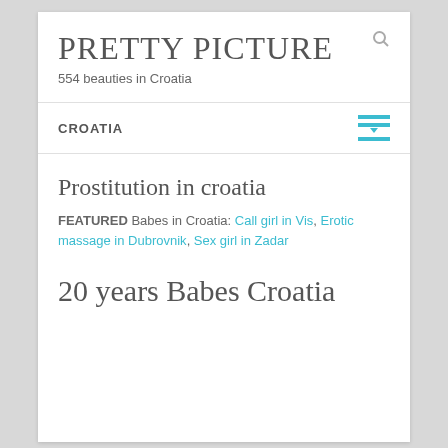PRETTY PICTURE
554 beauties in Croatia
CROATIA
Prostitution in croatia
FEATURED Babes in Croatia: Call girl in Vis, Erotic massage in Dubrovnik, Sex girl in Zadar
20 years Babes Croatia